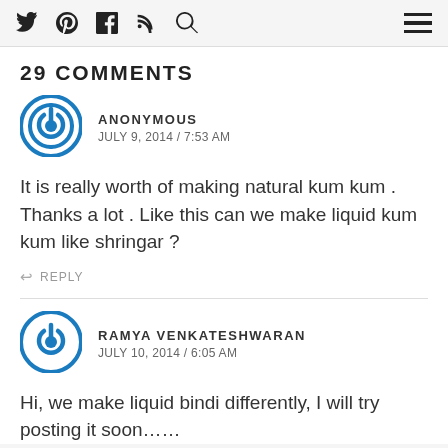Social icons: Twitter, Pinterest, Facebook, RSS, Search; Hamburger menu
29 COMMENTS
ANONYMOUS
JULY 9, 2014 / 7:53 AM
It is really worth of making natural kum kum . Thanks a lot . Like this can we make liquid kum kum like shringar ?
REPLY
RAMYA VENKATESHWARAN
JULY 10, 2014 / 6:05 AM
Hi, we make liquid bindi differently, I will try posting it soon……